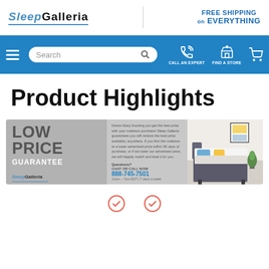Sleep Galleria — FREE SHIPPING on EVERYTHING
[Figure (screenshot): Sleep Galleria website navigation bar with hamburger menu, search box, call an expert icon, find a store icon, and cart icon on blue background]
Product Highlights
[Figure (infographic): Sleep Galleria Low Price Guarantee banner with text: 'LOW PRICE GUARANTEE' on gray background, policy text about best price guarantee, contact info 888-745-7501, 11am-7pm EST 7 days a week, and bed photo on right side]